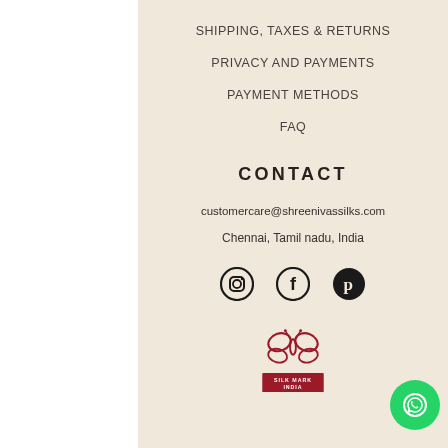SHIPPING, TAXES & RETURNS
PRIVACY AND PAYMENTS
PAYMENT METHODS
FAQ
CONTACT
customercare@shreenivassilks.com
Chennai, Tamil nadu, India
[Figure (illustration): Social media icons: Instagram, Facebook, Pinterest]
[Figure (logo): Silk Mark India logo with butterfly and text]
[Figure (illustration): WhatsApp contact button (green circle with phone icon)]